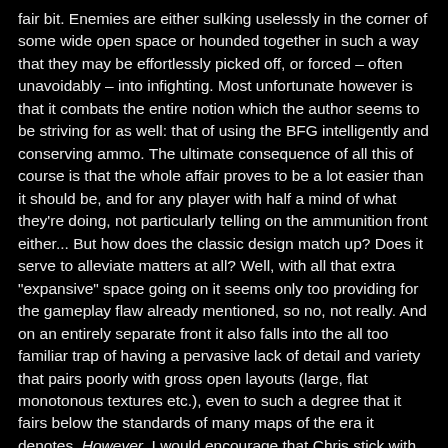fair bit. Enemies are either sulking uselessly in the corner of some wide open space or hounded together in such a way that they may be effortlessly picked off, or forced – often unavoidably – into infighting. Most unfortunate however is that it combats the entire notion which the author seems to be striving for as well: that of using the BFG intelligently and conserving ammo. The ultimate consequence of all this of course is that the whole affair proves to be a lot easier than it should be, and for any player with half a mind of what they're doing, not particularly telling on the ammunition front either... But how does the classic design match up? Does it serve to alleviate matters at all? Well, with all that extra "expansive" space going on it seems only too providing for the gameplay flaw already mentioned, so no, not really. And on an entirely separate front it also falls into the all too familiar trap of having a pervasive lack of detail and variety that pairs poorly with gross open layouts (large, flat monotonous textures etc.), even to such a degree that it fairs below the standards of many maps of the era it denotes. However, I would encourage that Chris stick with whole open abstract thing if he feels it suits him best, and just work on putting the skittles back in the bag. If you catch my banter.